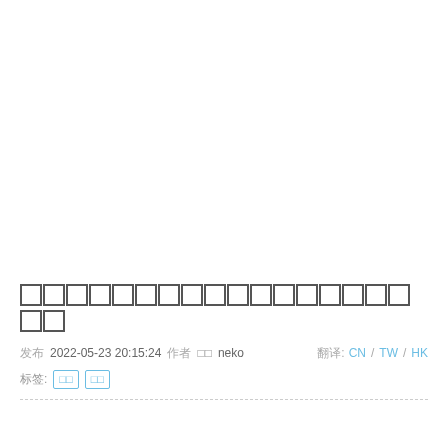□□□□□□□□□□□□□□□□□□□
发布 2022-05-23 20:15:24   作者neko   翻译: CN / TW / HK
标签:  标签1  标签2